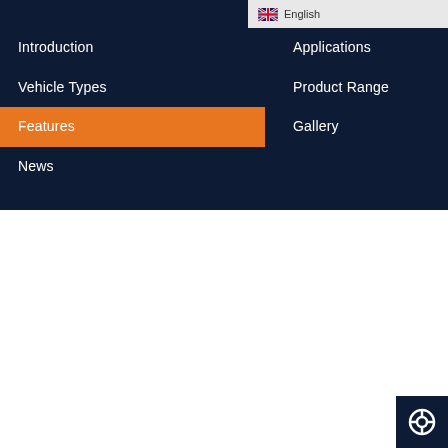English
Introduction
Vehicle Types
Features
News
Applications
Product Range
Gallery
[Figure (photo): A motorcycle driving simulator station showing a motorbike body mounted on a platform/frame, with handlebars and seat visible, placed on a carpeted platform base in a room.]
Driving Station
The rider station comprises of a actual motorbike body mounted on a light weight frame, modified for simulation purpose. The station is equipped with all hand controls &